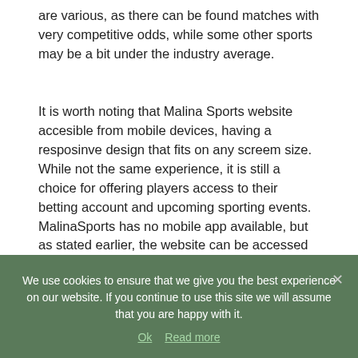are various, as there can be found matches with very competitive odds, while some other sports may be a bit under the industry average.
It is worth noting that Malina Sports website accesible from mobile devices, having a resposinve design that fits on any screem size. While not the same experience, it is still a choice for offering players access to their betting account and upcoming sporting events. MalinaSports has no mobile app available, but as stated earlier, the website can be accessed from the web browser of any mobile device. The Malina sports promotion code listed above is good for mobile account registration as well.
The live betting section features all the upcoming sports
We use cookies to ensure that we give you the best experience on our website. If you continue to use this site we will assume that you are happy with it.